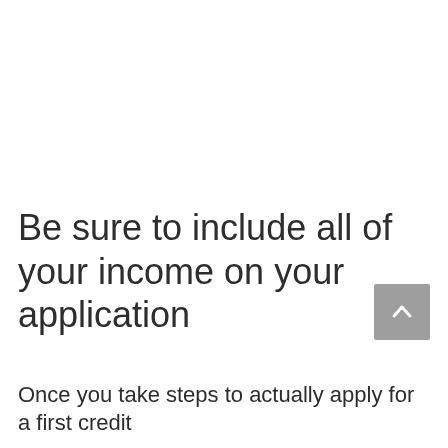Be sure to include all of your income on your application
Once you take steps to actually apply for a first credit